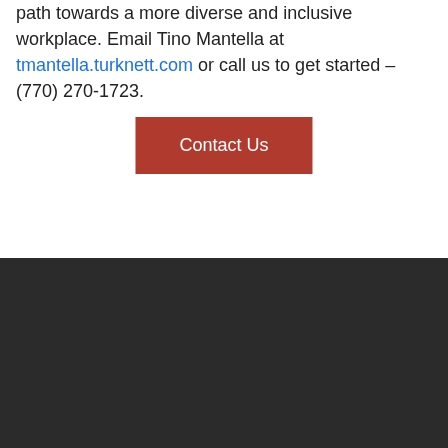path towards a more diverse and inclusive workplace. Email Tino Mantella at tmantella.turknett.com or call us to get started – (770) 270-1723.
[Figure (other): Red 'Contact Us' button]
[Figure (other): Dark background footer section with red newsletter subscription box containing 'Subscribe to Our Newsletter' heading and 'SIGN UP →' link]